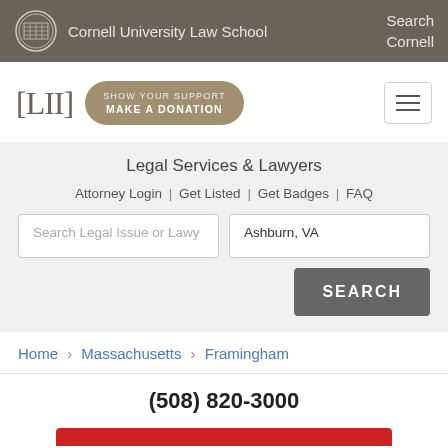Cornell University Law School | Search Cornell
[Figure (logo): LII Legal Information Institute logo with [LII] brackets and 'SHOW YOUR SUPPORT / MAKE A DONATION' button]
Legal Services & Lawyers
Attorney Login | Get Listed | Get Badges | FAQ
Search Legal Issue or Lawy | Ashburn, VA | SEARCH
Home › Massachusetts › Framingham
(508) 820-3000